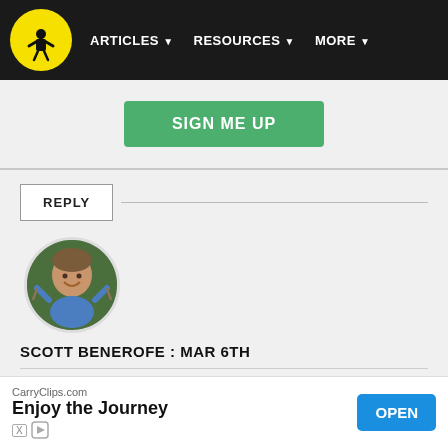ARTICLES ▼   RESOURCES ▼   MORE ▼
SIGN ME UP
REPLY
[Figure (photo): Circular avatar photo of Scott Benerofe, a person smiling outdoors in a wooded area, holding trekking poles, wearing a blue shirt]
SCOTT BENEROFE : MAR 6TH
I totally agree. I actually need to update this post
[Figure (other): Advertisement banner: CarryClips.com - Enjoy the Journey, with OPEN button]